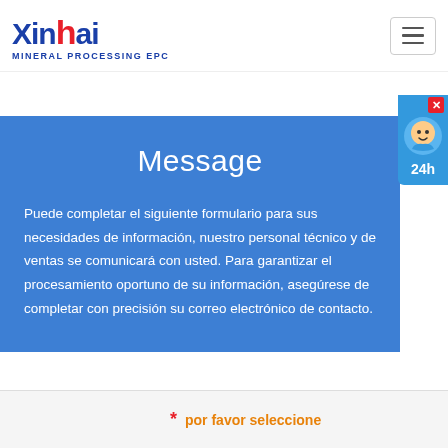[Figure (logo): Xinhai Mineral Processing EPC company logo — blue X with red dot, bold lettering]
[Figure (other): Hamburger menu button (three horizontal lines) in a rounded rectangle border]
[Figure (other): Live chat widget on right side showing avatar, X close button, and '24h' label]
Message
Puede completar el siguiente formulario para sus necesidades de información, nuestro personal técnico y de ventas se comunicará con usted. Para garantizar el procesamiento oportuno de su información, asegúrese de completar con precisión su correo electrónico de contacto.
* por favor seleccione